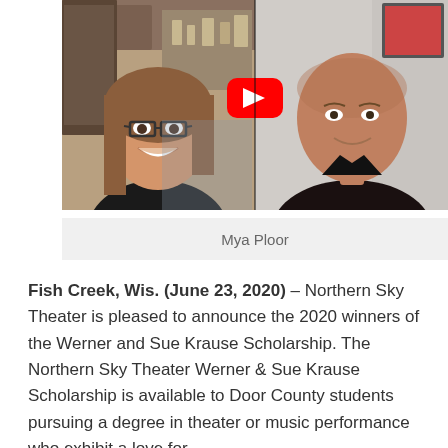[Figure (photo): A video thumbnail or screenshot of a video call / YouTube video showing two people: on the left, a young woman with long brown hair and glasses smiling; on the right, an older man in a dark shirt. A red YouTube play button icon is visible in the center.]
Mya Ploor
Fish Creek, Wis. (June 23, 2020) – Northern Sky Theater is pleased to announce the 2020 winners of the Werner and Sue Krause Scholarship. The Northern Sky Theater Werner & Sue Krause Scholarship is available to Door County students pursuing a degree in theater or music performance who exhibit a love for